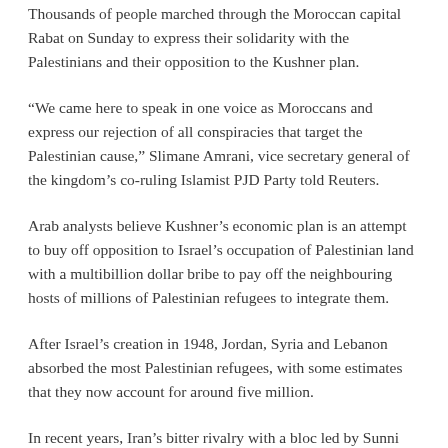Thousands of people marched through the Moroccan capital Rabat on Sunday to express their solidarity with the Palestinians and their opposition to the Kushner plan.
“We came here to speak in one voice as Moroccans and express our rejection of all conspiracies that target the Palestinian cause,” Slimane Amrani, vice secretary general of the kingdom’s co-ruling Islamist PJD Party told Reuters.
Arab analysts believe Kushner’s economic plan is an attempt to buy off opposition to Israel’s occupation of Palestinian land with a multibillion dollar bribe to pay off the neighbouring hosts of millions of Palestinian refugees to integrate them.
After Israel’s creation in 1948, Jordan, Syria and Lebanon absorbed the most Palestinian refugees, with some estimates that they now account for around five million.
In recent years, Iran’s bitter rivalry with a bloc led by Sunni Muslim Saudi Arabia has increasingly pushed the Palestinian-